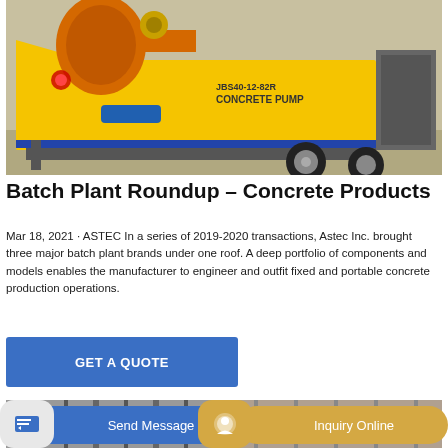[Figure (photo): Yellow concrete pump machine labeled JBS40-12-82R CONCRETE PUMP on a trailer, photographed outdoors on pavement]
Batch Plant Roundup – Concrete Products
Mar 18, 2021 · ASTEC In a series of 2019-2020 transactions, Astec Inc. brought three major batch plant brands under one roof. A deep portfolio of components and models enables the manufacturer to engineer and outfit fixed and portable concrete production operations.
[Figure (screenshot): GET A QUOTE blue button]
[Figure (photo): Partial view of industrial machinery interior, bottom of page]
[Figure (screenshot): Send Message button (blue) and Inquiry Online button (tan/gold) at bottom of page]